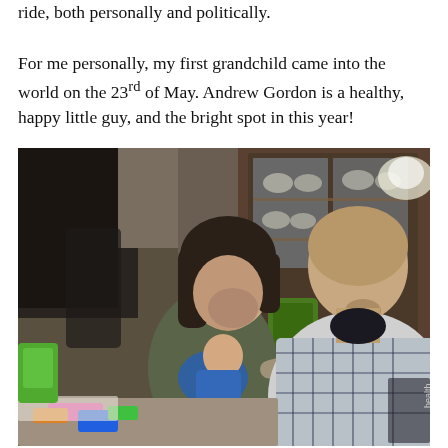ride, both personally and politically.

For me personally, my first grandchild came into the world on the 23rd of May. Andrew Gordon is a healthy, happy little guy, and the bright spot in this year!
[Figure (photo): Indoor photo of a woman and a man sitting at a table. The woman is holding a young baby dressed in blue. The man has a shaved head and a goatee and is wearing a plaid shirt. Behind them is a large wooden china cabinet filled with dishes. A green child's chair and colorful toys are visible on the left.]